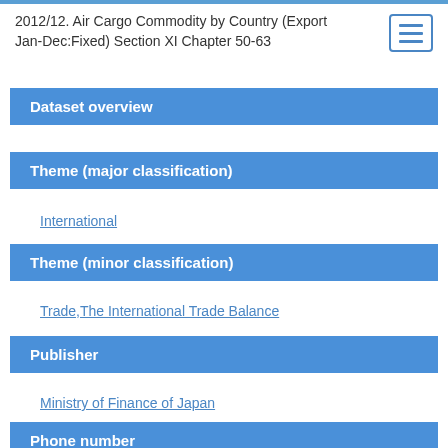2012/12. Air Cargo Commodity by Country (Export Jan-Dec:Fixed) Section XI Chapter 50-63
Dataset overview
Theme (major classification)
International
Theme (minor classification)
Trade,The International Trade Balance
Publisher
Ministry of Finance of Japan
Phone number
03-3581-4111(2518)